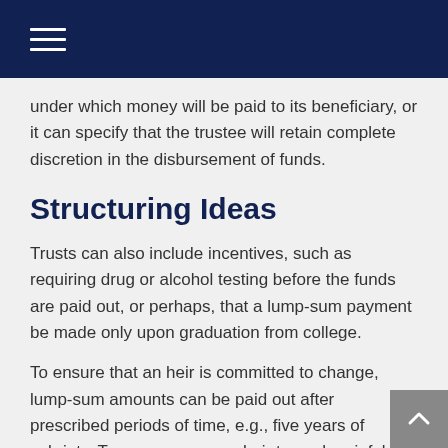under which money will be paid to its beneficiary, or it can specify that the trustee will retain complete discretion in the disbursement of funds.
Structuring Ideas
Trusts can also include incentives, such as requiring drug or alcohol testing before the funds are paid out, or perhaps, that a lump-sum payment be made only upon graduation from college.
To ensure that an heir is committed to change, lump-sum amounts can be paid out after prescribed periods of time, e.g., five years of sobriety. To encourage your heir to seek gainful employment, the trust might pay out a dollar for every dollar in wages. Alternatively, the trust can be written whereby payments are made directly to service providers, like a